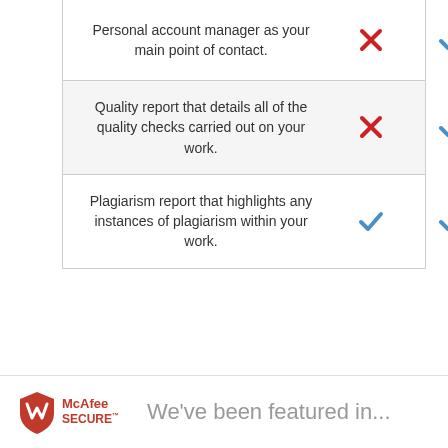| Feature | Standard | Premium |
| --- | --- | --- |
| Personal account manager as your main point of contact. | ✗ | ✓ |
| Quality report that details all of the quality checks carried out on your work. | ✗ | ✓ |
| Plagiarism report that highlights any instances of plagiarism within your work. | ✓ | ✓ |
[Figure (logo): McAfee SECURE logo]
We've been featured in...